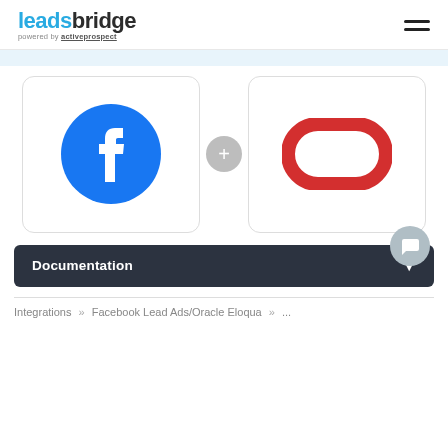leadsbridge powered by activeprospect
[Figure (logo): LeadsBridge logo with Facebook and Oracle Eloqua integration icons connected by a plus sign]
Documentation
Integrations » Facebook Lead Ads/Oracle Eloqua »  ...